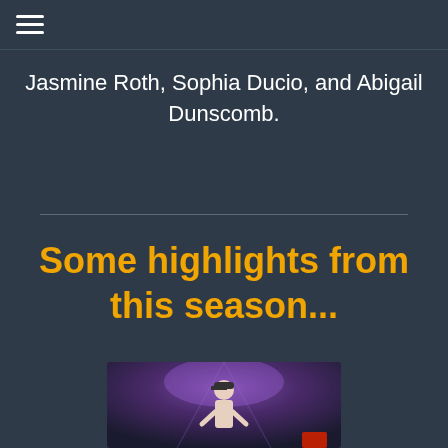Jasmine Roth, Sophia Ducio, and Abigail Dunscomb.
Some highlights from this season...
[Figure (photo): A performer on stage under purple dramatic stage lighting, wearing a cap and looking upward, with a red element visible at the bottom right.]